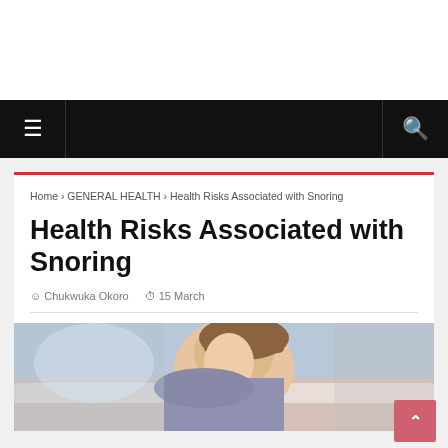Home › GENERAL HEALTH › Health Risks Associated with Snoring
Health Risks Associated with Snoring
Chukwuka Okoro   15 March
[Figure (photo): Woman lying in bed, partially cropped, appears to be waking up or disturbed, related to snoring health article]